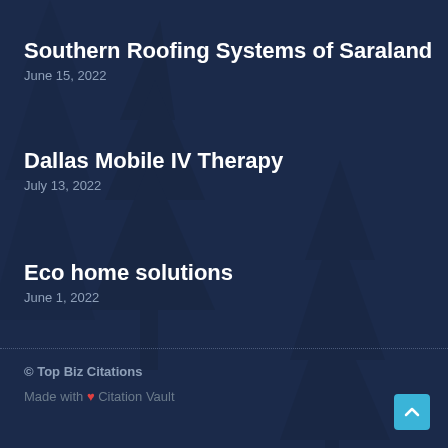Southern Roofing Systems of Saraland
June 15, 2022
Dallas Mobile IV Therapy
July 13, 2022
Eco home solutions
June 1, 2022
© Top Biz Citations
Made with ❤ Citation Vault